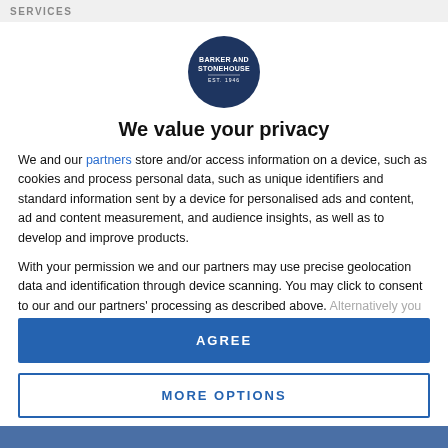SERVICES
[Figure (logo): Barker and Stonehouse circular logo, dark navy background with white text reading BARKER AND STONEHOUSE EST. 1946]
We value your privacy
We and our partners store and/or access information on a device, such as cookies and process personal data, such as unique identifiers and standard information sent by a device for personalised ads and content, ad and content measurement, and audience insights, as well as to develop and improve products.
With your permission we and our partners may use precise geolocation data and identification through device scanning. You may click to consent to our and our partners' processing as described above. Alternatively you may access more detailed information and change your preferences before consenting or to refuse consenting.
AGREE
MORE OPTIONS